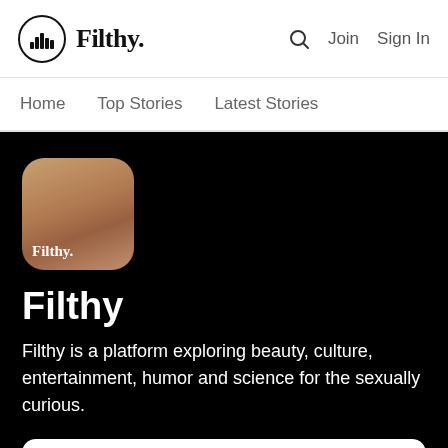Filthy. | Join | Sign In
Home | Top Stories | Latest Stories
[Figure (logo): Filthy app icon: rounded square with warm skin-tone gradient and white 'Filthy.' text overlay]
Filthy
Filthy is a platform exploring beauty, culture, entertainment, humor and science for the sexually curious.
|  | Stories |  |
| --- | --- | --- |
|  | Stories | 10,651 |